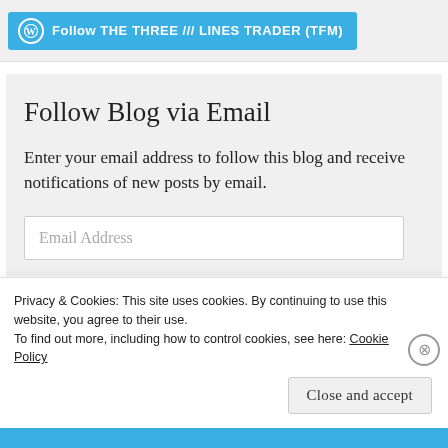[Figure (screenshot): WordPress Follow button: blue rounded button with WordPress icon and text 'Follow THE THREE /// LINES TRADER (TFM)']
Follow Blog via Email
Enter your email address to follow this blog and receive notifications of new posts by email.
Email Address
Privacy & Cookies: This site uses cookies. By continuing to use this website, you agree to their use.
To find out more, including how to control cookies, see here: Cookie Policy
Close and accept